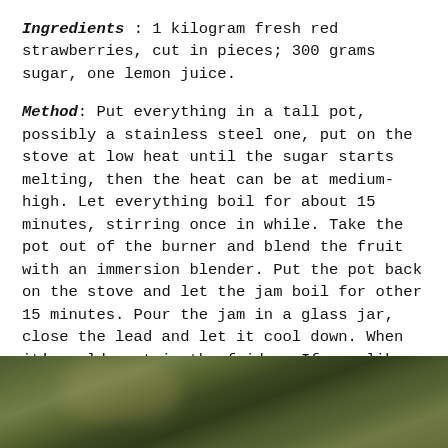Ingredients : 1 kilogram fresh red strawberries, cut in pieces; 300 grams sugar, one lemon juice.
Method: Put everything in a tall pot, possibly a stainless steel one, put on the stove at low heat until the sugar starts melting, then the heat can be at medium-high. Let everything boil for about 15 minutes, stirring once in while. Take the pot out of the burner and blend the fruit with an immersion blender. Put the pot back on the stove and let the jam boil for other 15 minutes. Pour the jam in a glass jar, close the lead and let it cool down. When it's cold, put in the fridge. If you like a thick jam, mix all the ingredients in the pot, and let it sit in the fridge for 12 hours, then start cooking the mix.
[Figure (photo): Partial photo of a garden or outdoor greenery scene, blurred, visible at the bottom of the page.]